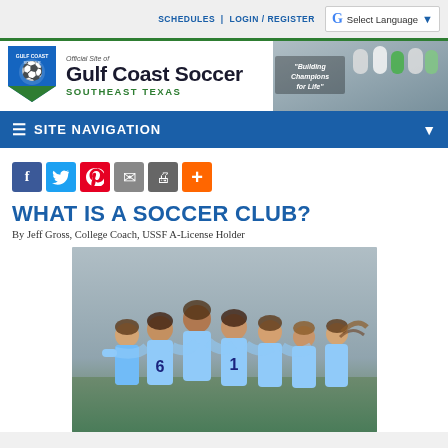SCHEDULES | LOGIN / REGISTER
[Figure (logo): Gulf Coast Soccer Southeast Texas official site logo with shield emblem]
[Figure (photo): Banner photo of youth soccer children with quote 'Building Champions for Life']
☰ SITE NAVIGATION
[Figure (infographic): Social sharing icons: Facebook, Twitter, Pinterest, Email, Print, Plus]
WHAT IS A SOCCER CLUB?
By Jeff Gross, College Coach, USSF A-License Holder
[Figure (photo): Youth girls soccer team in light blue jerseys huddled together celebrating, team hug on field]